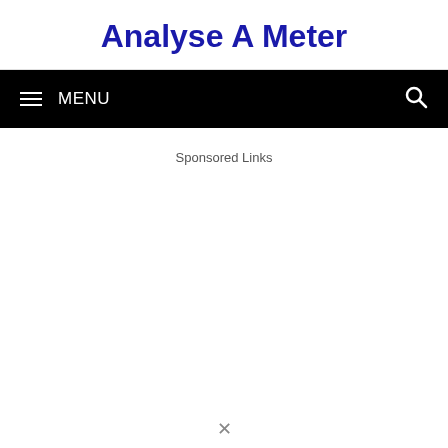Analyse A Meter
MENU
Sponsored Links